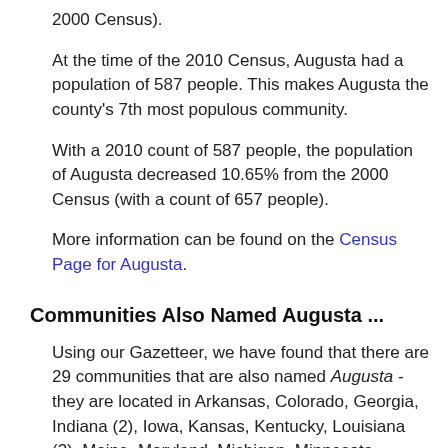2000 Census).
At the time of the 2010 Census, Augusta had a population of 587 people. This makes Augusta the county's 7th most populous community.
With a 2010 count of 587 people, the population of Augusta decreased 10.65% from the 2000 Census (with a count of 657 people).
More information can be found on the Census Page for Augusta.
Communities Also Named Augusta ...
Using our Gazetteer, we have found that there are 29 communities that are also named Augusta - they are located in Arkansas, Colorado, Georgia, Indiana (2), Iowa, Kansas, Kentucky, Louisiana (3), Maine, Maryland, Michigan, Minnesota, Mississippi, Missouri, Montana, New Jersey, New York, North Carolina, Ohio, Oklahoma, Ontario, South Dakota, Texas, West Virginia (2) and Wisconsin.